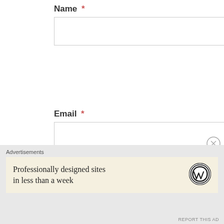Name *
Email *
Website
Advertisements
Professionally designed sites in less than a week